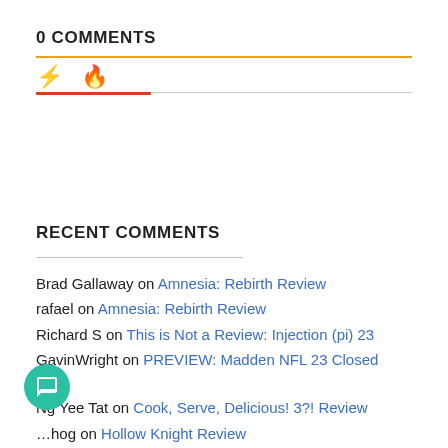0 COMMENTS
RECENT COMMENTS
Brad Gallaway on Amnesia: Rebirth Review
rafael on Amnesia: Rebirth Review
Richard S on This is Not a Review: Injection (pi) 23
GavinWright on PREVIEW: Madden NFL 23 Closed Beta
Ng Yee Tat on Cook, Serve, Delicious! 3?! Review
…hog on Hollow Knight Review
Jonathan on War In The East 2 Review